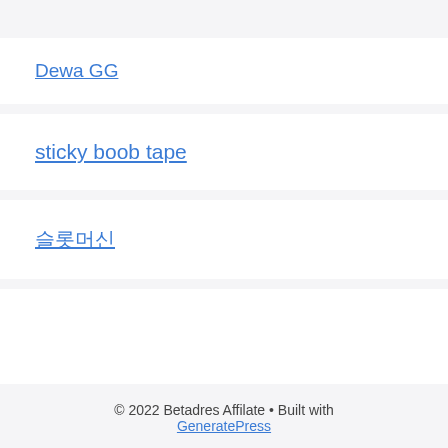Dewa GG
sticky boob tape
슬롯머신
© 2022 Betadres Affilate • Built with GeneratePress